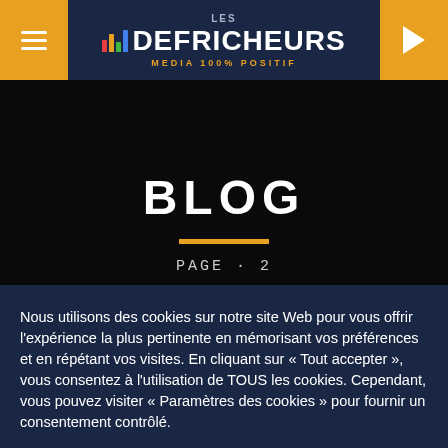Les Défricheurs – MEDIA 100% POSITIF
BLOG
PAGE · 2
Nous utilisons des cookies sur notre site Web pour vous offrir l'expérience la plus pertinente en mémorisant vos préférences et en répétant vos visites. En cliquant sur « Tout accepter », vous consentez à l'utilisation de TOUS les cookies. Cependant, vous pouvez visiter « Paramètres des cookies » pour fournir un consentement contrôlé.
Paramètres des cookies
Accepter tout